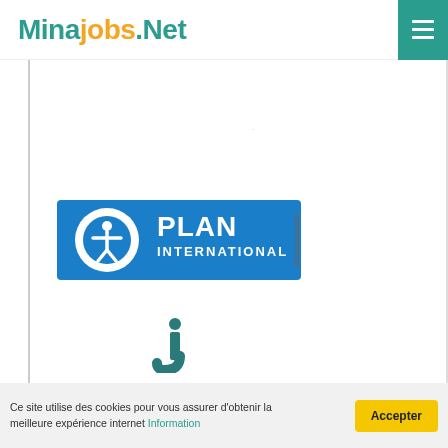Minajobs.Net
[Figure (logo): Circular logo with green, yellow, red arcs (partially visible at top)]
[Figure (logo): Plan International logo - blue rectangle with white circle icon and text PLAN INTERNATIONAL]
[Figure (logo): Teal/dark cyan stylized letter J logo]
Ce site utilise des cookies pour vous assurer d'obtenir la meilleure expérience internet Information
Accepter